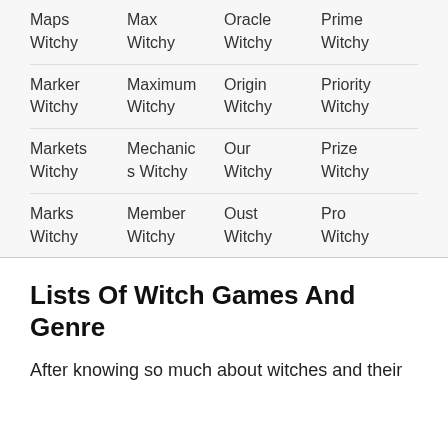| Maps
Witchy | Max
Witchy | Oracle
Witchy | Prime
Witchy |
| Marker
Witchy | Maximum
Witchy | Origin
Witchy | Priority
Witchy |
| Markets
Witchy | Mechanics Witchy | Our
Witchy | Prize
Witchy |
| Marks
Witchy | Member
Witchy | Oust
Witchy | Pro
Witchy |
Lists Of Witch Games And Genre
After knowing so much about witches and their